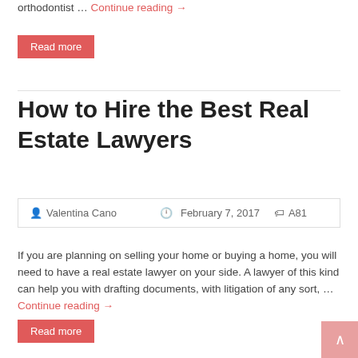orthodontist … Continue reading →
Read more
How to Hire the Best Real Estate Lawyers
Valentina Cano   February 7, 2017   A81
If you are planning on selling your home or buying a home, you will need to have a real estate lawyer on your side. A lawyer of this kind can help you with drafting documents, with litigation of any sort, … Continue reading →
Read more